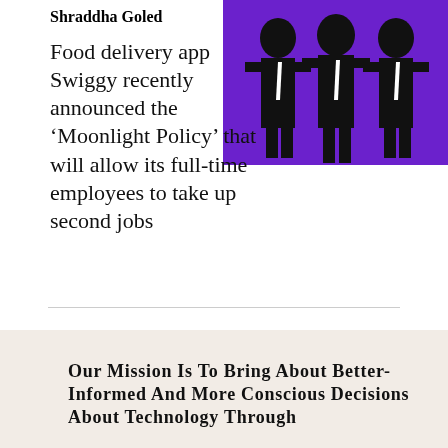Shraddha Goled
[Figure (illustration): Illustration on purple background showing three silhouetted figures in black suits with white ties]
Food delivery app Swiggy recently announced the ‘Moonlight Policy’ that will allow its full-time employees to take up second jobs
Our Mission Is To Bring About Better-Informed And More Conscious Decisions About Technology Through